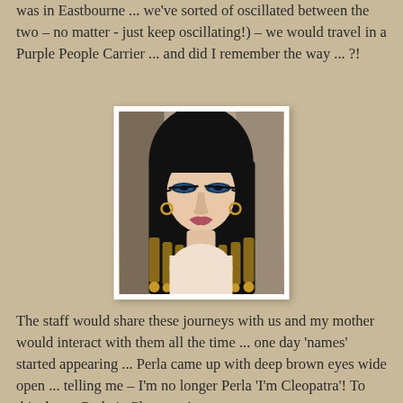was in Eastbourne ... we've sorted of oscillated between the two – no matter - just keep oscillating!) – we would travel in a Purple People Carrier ... and did I remember the way ... ?!
[Figure (photo): A woman dressed as Cleopatra with dark braided hair adorned with golden beaded tips, dramatic Egyptian eye makeup with dark kohl eyeliner, and elaborate golden earrings.]
The staff would share these journeys with us and my mother would interact with them all the time ... one day 'names' started appearing ... Perla came up with deep brown eyes wide open ... telling me – I'm no longer Perla 'I'm Cleopatra'!  To this day ... Perla is Cleopatra!